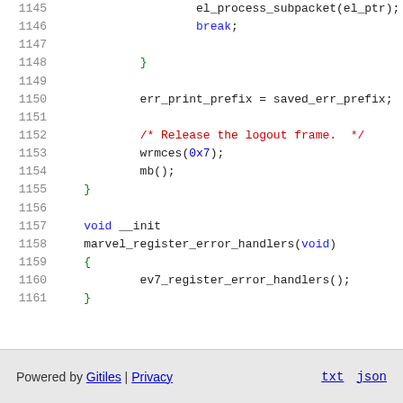[Figure (screenshot): Source code viewer showing lines 1145-1161 of a C source file with syntax highlighting. Contains function body with el_process_subpacket call, break, closing braces, err_print_prefix assignment, comment about releasing logout frame, wrmces and mb calls, and void __init marvel_register_error_handlers function definition with ev7_register_error_handlers call.]
Powered by Gitiles | Privacy   txt   json